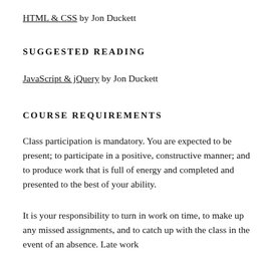HTML & CSS by Jon Duckett
SUGGESTED READING
JavaScript & jQuery by Jon Duckett
COURSE REQUIREMENTS
Class participation is mandatory. You are expected to be present; to participate in a positive, constructive manner; and to produce work that is full of energy and completed and presented to the best of your ability.
It is your responsibility to turn in work on time, to make up any missed assignments, and to catch up with the class in the event of an absence. Late work